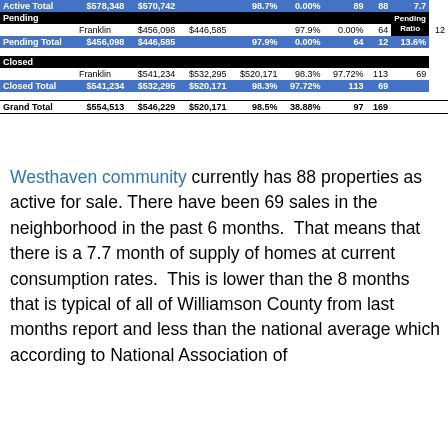|  |  |  |  |  |  |  |  | Pending Ratio |
| --- | --- | --- | --- | --- | --- | --- | --- | --- |
| Active Total | $578,348 | $570,742 |  | 98.7% | 0.00% | 89 | 88 | 7.7 |
| Pending |  |  |  |  |  |  |  | Pending Ratio |
|  | Franklin | $456,098 | $446,585 |  | 97.9% | 0.00% | 64 | 12 | 13.6% |
| Pending Total | $456,098 | $446,585 |  | 97.9% | 0.00% | 64 | 12 | 13.6% |
| Closed |  |  |  |  |  |  |  |  |
|  | Franklin | $541,234 | $532,295 | $520,171 | 98.3% | 97.72% | 113 | 69 |
| Closed Total | $541,234 | $532,295 | $520,171 | 98.3% | 97.72% | 113 | 69 |
| Grand Total | $554,513 | $546,229 | $520,171 | 98.5% | 38.88% | 97 | 169 |
Westhaven community currently has 88 properties as active for sale. There have been 69 sales in the neighborhood in the past 6 months.  That means that there is a 7.7 month of supply of homes at current consumption rates.  This is lower than the 8 months that is typical of all of Williamson County from last months report and less than the national average which according to National Association of